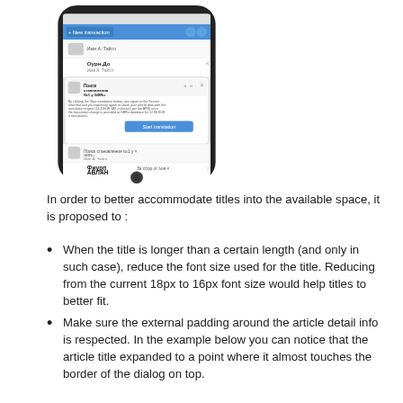[Figure (screenshot): Screenshot of a mobile phone (iPhone-style) showing a translation app interface with a popup dialog titled 'Поиск становления №1 у GBRu' and a 'Start translation' button.]
In order to better accommodate titles into the available space, it is proposed to :
When the title is longer than a certain length (and only in such case), reduce the font size used for the title. Reducing from the current 18px to 16px font size would help titles to better fit.
Make sure the external padding around the article detail info is respected. In the example below you can notice that the article title expanded to a point where it almost touches the border of the dialog on top.